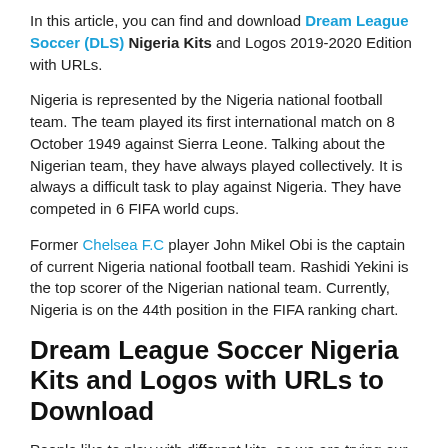In this article, you can find and download Dream League Soccer (DLS) Nigeria Kits and Logos 2019-2020 Edition with URLs.
Nigeria is represented by the Nigeria national football team. The team played its first international match on 8 October 1949 against Sierra Leone. Talking about the Nigerian team, they have always played collectively. It is always a difficult task to play against Nigeria. They have competed in 6 FIFA world cups.
Former Chelsea F.C player John Mikel Obi is the captain of current Nigeria national football team. Rashidi Yekini is the top scorer of the Nigerian national team. Currently, Nigeria is on the 44th position in the FIFA ranking chart.
Dream League Soccer Nigeria Kits and Logos with URLs to Download
People like to play with different kits, so we are trying our best to fulfill the desire. In this blog, we are going to share the Dream League Soccer Kits for Nigeria. You can download the Kits and